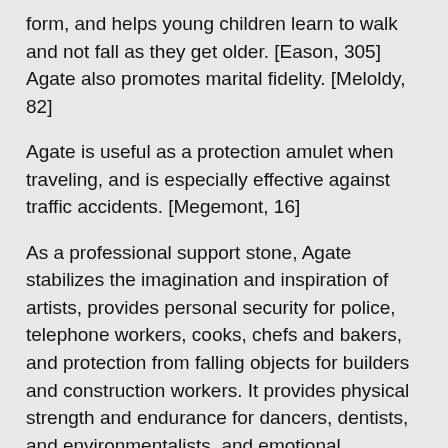form, and helps young children learn to walk and not fall as they get older. [Eason, 305] Agate also promotes marital fidelity. [Meloldy, 82]
Agate is useful as a protection amulet when traveling, and is especially effective against traffic accidents. [Megemont, 16]
As a professional support stone, Agate stabilizes the imagination and inspiration of artists, provides personal security for police, telephone workers, cooks, chefs and bakers, and protection from falling objects for builders and construction workers. It provides physical strength and endurance for dancers, dentists, and environmentalists, and emotional endurance for educators and recreational workers. [Mella, 129-133]
You will receive this exact box lot weight 5.6 oz